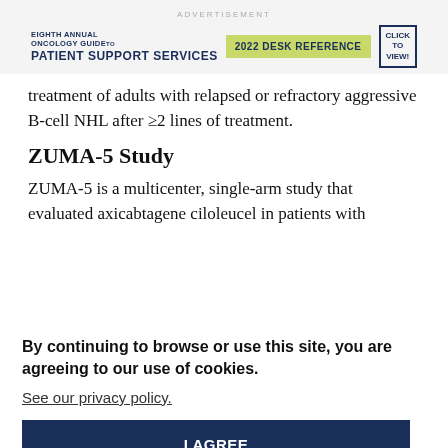ADVERTISEMENT
[Figure (other): Eighth Annual Oncology Guide to Patient Support Services 2022 Desk Reference advertisement banner with click to view button]
treatment of adults with relapsed or refractory aggressive B-cell NHL after ≥2 lines of treatment.
ZUMA-5 Study
ZUMA-5 is a multicenter, single-arm study that evaluated axicabtagene ciloleucel in patients with
By continuing to browse or use this site, you are agreeing to our use of cookies.
See our privacy policy.
I AGREE
The efficacy analysis included 86 patients — 80 patients